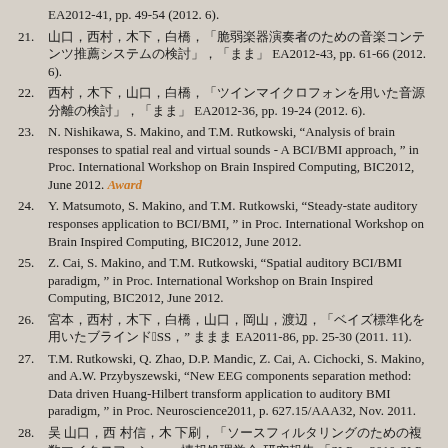EA2012-41, pp. 49-54 (2012. 6).
21. [Japanese text], EA2012-43, pp. 61-66 (2012. 6).
22. [Japanese text], EA2012-36, pp. 19-24 (2012. 6).
23. N. Nishikawa, S. Makino, and T.M. Rutkowski, "Analysis of brain responses to spatial real and virtual sounds - A BCI/BMI approach, " in Proc. International Workshop on Brain Inspired Computing, BIC2012, June 2012. Award
24. Y. Matsumoto, S. Makino, and T.M. Rutkowski, "Steady-state auditory responses application to BCI/BMI, " in Proc. International Workshop on Brain Inspired Computing, BIC2012, June 2012.
25. Z. Cai, S. Makino, and T.M. Rutkowski, "Spatial auditory BCI/BMI paradigm, " in Proc. International Workshop on Brain Inspired Computing, BIC2012, June 2012.
26. [Japanese text], EA2011-86, pp. 25-30 (2011. 11).
27. T.M. Rutkowski, Q. Zhao, D.P. Mandic, Z. Cai, A. Cichocki, S. Makino, and A.W. Przybyszewski, "New EEG components separation method: Data driven Huang-Hilbert transform application to auditory BMI paradigm, " in Proc. Neuroscience2011, p. 627.15/AAA32, Nov. 2011.
28. [Japanese text], 2010-SLP-83 (7), pp. 1-6 (2010. 10).